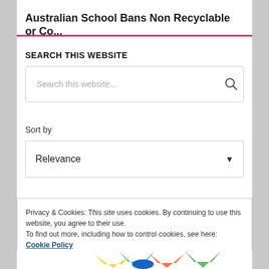Australian School Bans Non Recyclable or Co...
SEARCH THIS WEBSITE
Search this website...
Sort by
Relevance
Privacy & Cookies: This site uses cookies. By continuing to use this website, you agree to their use.
To find out more, including how to control cookies, see here: Cookie Policy
Close and accept
[Figure (photo): Colorful plastic star and hand shapes at the bottom of the page]